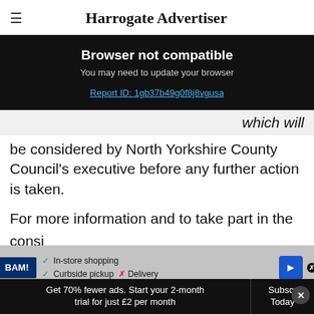Harrogate Advertiser
Browser not compatible
You may need to update your browser
Report ID: 1gb37b49g0f8j8vgusa
which will be considered by North Yorkshire County Council's executive before any further action is taken.
For more information and to take part in the consi...
https://www.northyorks.gov.uk/proposal-
Get 70% fewer ads. Start your 2-month trial for just £2 per month
Subscribe Today